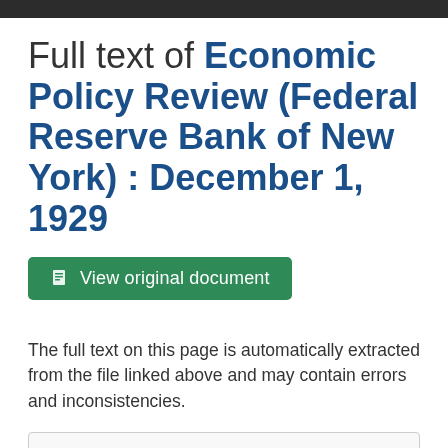Full text of Economic Policy Review (Federal Reserve Bank of New York) : December 1, 1929
View original document
The full text on this page is automatically extracted from the file linked above and may contain errors and inconsistencies.
M O N T H L Y R E V I E W
of Credit and Business Conditions
_____________________________ S e c o n d

Federal Reserve Agent